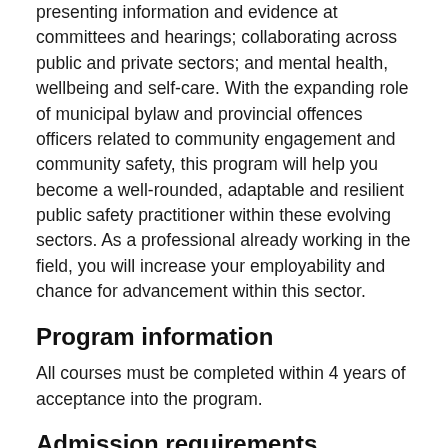presenting information and evidence at committees and hearings; collaborating across public and private sectors; and mental health, wellbeing and self-care. With the expanding role of municipal bylaw and provincial offences officers related to community engagement and community safety, this program will help you become a well-rounded, adaptable and resilient public safety practitioner within these evolving sectors. As a professional already working in the field, you will increase your employability and chance for advancement within this sector.
Program information
All courses must be completed within 4 years of acceptance into the program.
Admission requirements
Ontario Secondary School Diploma (OSSD), or